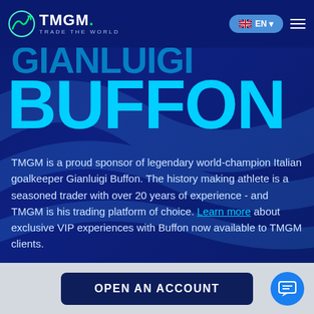[Figure (logo): TMGM logo with arrow/chart icon and tagline TRADE THE WORLD]
BUFFON
TMGM is a proud sponsor of legendary world-champion Italian goalkeeper Gianluigi Buffon. The history making athlete is a seasoned trader with over 20 years of experience - and TMGM is his trading platform of choice. Learn more about exclusive VIP experiences with Buffon now available to TMGM clients.
[Figure (photo): Partial photo of Gianluigi Buffon's head visible at bottom right]
OPEN AN ACCOUNT